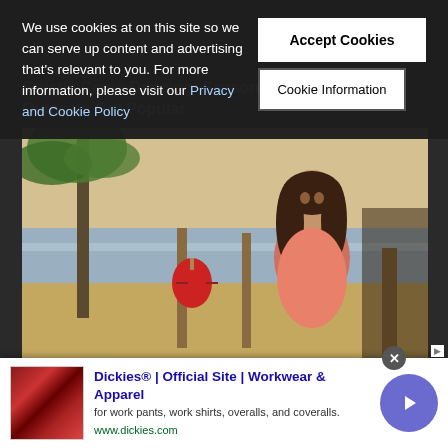We use cookies at on this site so we can serve up content and advertising that's relevant to you. For more information, please visit our Privacy and Cookie Policy
Accept Cookies
Cookie Information
Strictly Come Dancing: Season 3 Review: The Outcasts Get Popular
[Figure (photo): A woman with long dark hair wearing a pink/coral top standing near a beach with palm trees and a red lantern visible in the background. Warm golden-hour lighting.]
Dickies® | Official Site | Workwear & Apparel
for work pants, work shirts, overalls, and coveralls.
www.dickies.com